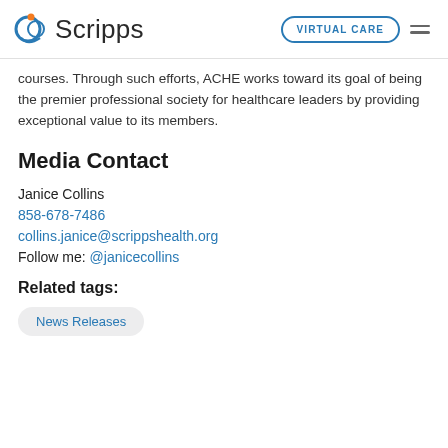Scripps | VIRTUAL CARE
courses. Through such efforts, ACHE works toward its goal of being the premier professional society for healthcare leaders by providing exceptional value to its members.
Media Contact
Janice Collins
858-678-7486
collins.janice@scrippshealth.org
Follow me: @janicecollins
Related tags:
News Releases